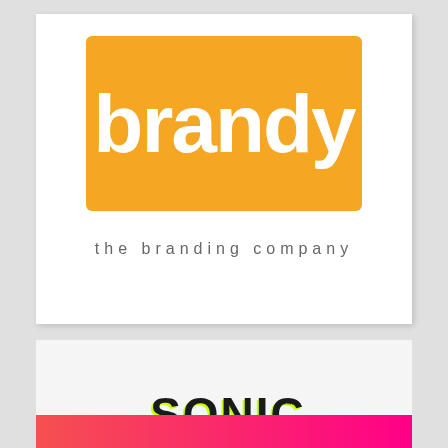[Figure (logo): Brandy - the branding company logo. Orange rounded rectangle with white lowercase 'brandy' text, and tagline 'the branding company' below in grey.]
[Figure (logo): Sonic Spring logo in bold black uppercase text with yellow-green highlights/offsets, registered trademark symbol.]
[Figure (other): Partial view of a pink-to-hot-pink gradient card at the bottom of the page.]